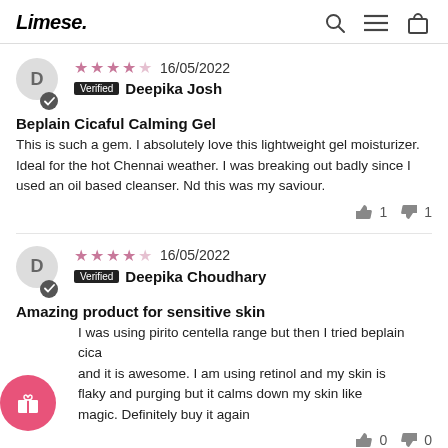Limese.
16/05/2022 Verified Deepika Josh
Beplain Cicaful Calming Gel
This is such a gem. I absolutely love this lightweight gel moisturizer. Ideal for the hot Chennai weather. I was breaking out badly since I used an oil based cleanser. Nd this was my saviour.
16/05/2022 Verified Deepika Choudhary
Amazing product for sensitive skin
I was using pirito centella range but then I tried beplain cica and it is awesome. I am using retinol and my skin is flaky and purging but it calms down my skin like magic. Definitely buy it again